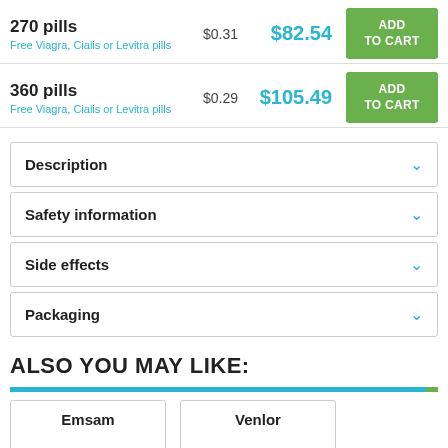| Pills | Per pill | Total | Action |
| --- | --- | --- | --- |
| 270 pills | $0.31 | $82.54 | ADD TO CART |
| 360 pills | $0.29 | $105.49 | ADD TO CART |
Description
Safety information
Side effects
Packaging
ALSO YOU MAY LIKE:
Emsam
Venlor